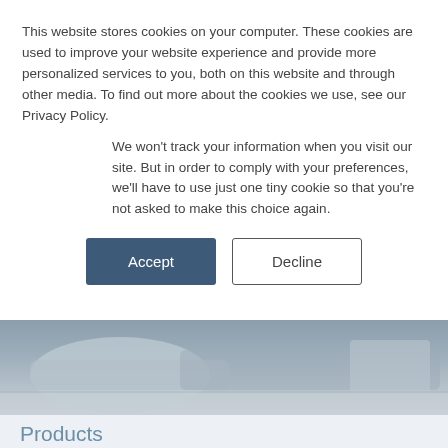This website stores cookies on your computer. These cookies are used to improve your website experience and provide more personalized services to you, both on this website and through other media. To find out more about the cookies we use, see our Privacy Policy.
We won't track your information when you visit our site. But in order to comply with your preferences, we'll have to use just one tiny cookie so that you're not asked to make this choice again.
[Figure (other): Accept and Decline cookie consent buttons]
[Figure (photo): Hero image showing industrial or mechanical equipment, partially visible at bottom of cookie overlay area]
Products
Markets
GreenTech
Company